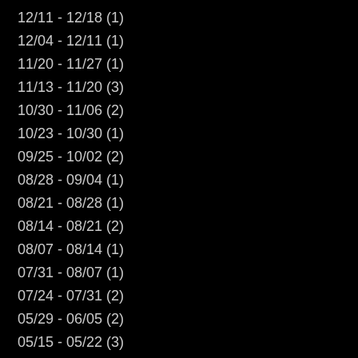12/11 - 12/18 (1)
12/04 - 12/11 (1)
11/20 - 11/27 (1)
11/13 - 11/20 (3)
10/30 - 11/06 (2)
10/23 - 10/30 (1)
09/25 - 10/02 (2)
08/28 - 09/04 (1)
08/21 - 08/28 (1)
08/14 - 08/21 (2)
08/07 - 08/14 (1)
07/31 - 08/07 (1)
07/24 - 07/31 (2)
05/29 - 06/05 (2)
05/15 - 05/22 (3)
04/03 - 04/10 (2)